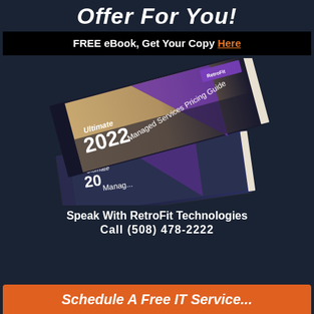Offer For You!
FREE eBook, Get Your Copy Here
[Figure (photo): Two stacked books titled 'Ultimate 2022 Managed Services Pricing Guide' with a cover image of a person typing on a laptop keyboard and a purple geometric design. RetroFit logo visible on top book.]
Speak With RetroFit Technologies
Call (508) 478-2222
Schedule A Free IT Service...